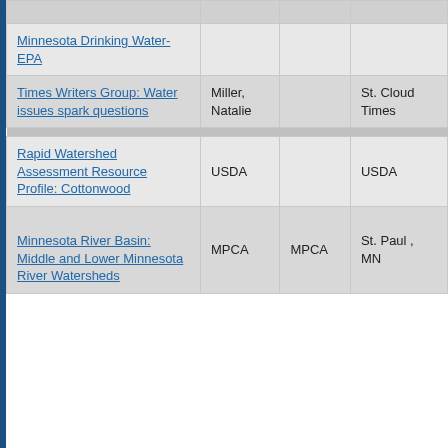| Title | Author |  | Publisher | Location |
| --- | --- | --- | --- | --- |
| Minnesota Drinking Water- EPA |  |  |  |  |
| Times Writers Group: Water issues spark questions | Miller, Natalie |  | St. Cloud Times |  |
| Rapid Watershed Assessment Resource Profile: Cottonwood | USDA |  | USDA |  |
| Minnesota River Basin: Middle and Lower Minnesota River Watersheds | MPCA |  | MPCA | St. Paul , MN |